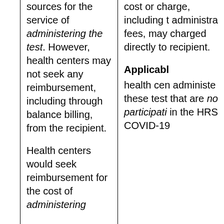sources for the service of administering the test. However, health centers may not seek any reimbursement, including through balance billing, from the recipient.
Health centers would seek reimbursement for the cost of administering
cost or charge, including the administration fees, may be charged directly to recipient.
Applicable
health centers administering these tests that are not participating in the HRS COVID-19